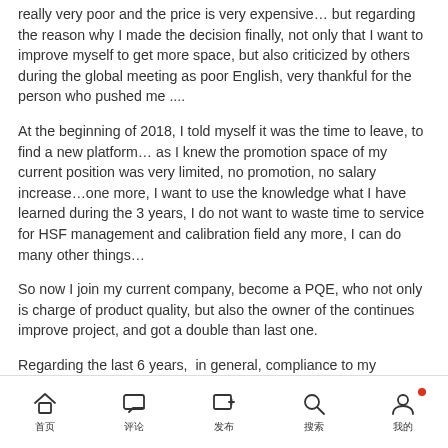really very poor and the price is very expensive… but regarding the reason why I made the decision finally, not only that I want to improve myself to get more space, but also criticized by others during the global meeting as poor English, very thankful for the person who pushed me ....
At the beginning of 2018, I told myself it was the time to leave, to find a new platform… as I knew the promotion space of my current position was very limited, no promotion, no salary increase…one more, I want to use the knowledge what I have learned during the 3 years, I do not want to waste time to service for HSF management and calibration field any more, I can do many other things…
So now I join my current company, become a PQE, who not only is charge of product quality, but also the owner of the continues improve project, and got a double than last one.
Regarding the last 6 years,  in general, compliance to my expectation, but just for me.
Maybe in some peer's eye,  the experience like this is shamed to be
home | comment | add | search | user